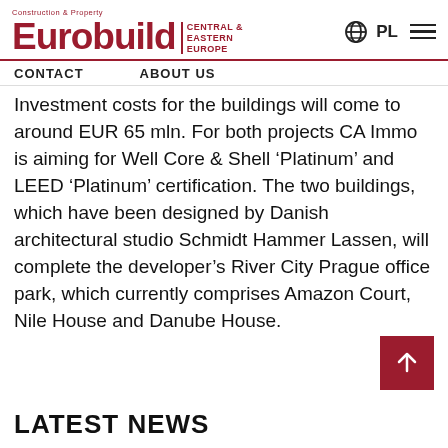Eurobuild Central & Eastern Europe | Construction & Property | PL
CONTACT   ABOUT US
Investment costs for the buildings will come to around EUR 65 mln. For both projects CA Immo is aiming for Well Core & Shell 'Platinum' and LEED 'Platinum' certification. The two buildings, which have been designed by Danish architectural studio Schmidt Hammer Lassen, will complete the developer's River City Prague office park, which currently comprises Amazon Court, Nile House and Danube House.
LATEST NEWS